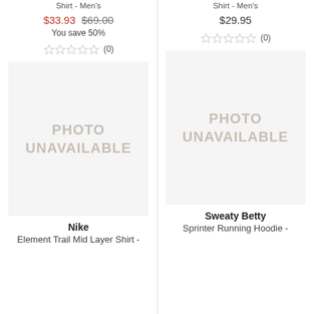Shirt - Men's (partial, top)
Shirt - Men's (partial, top, right column)
$33.93 $69.00 You save 50%
$29.95
★★★★★ (0)
★★★★★ (0)
[Figure (photo): PHOTO UNAVAILABLE placeholder for product image, left column]
[Figure (photo): PHOTO UNAVAILABLE placeholder for product image, right column]
Nike
Element Trail Mid Layer Shirt -
Sweaty Betty
Sprinter Running Hoodie -